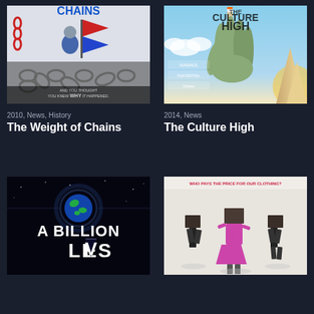[Figure (photo): Movie poster for The Weight of Chains (2010) showing a cartoon character struggling with chains, holding a flag, with the text 'And you thought you knew WHY it happened.']
2010, News, History
The Weight of Chains
[Figure (photo): Movie poster for The Culture High (2014) showing a large green hand holding a cigarette/joint against a blue sky, with festival laurels including Sundance Film Festival and Cinetest.]
2014, News
The Culture High
[Figure (photo): Movie poster for A Billion Lives showing dark background with Earth and large white text reading 'A BILLION LIVES']
[Figure (photo): Movie poster showing three figures with brown bags over their heads, one wearing a pink/magenta dress, with text at top 'WHO PAYS THE PRICE FOR OUR CLOTHING?']